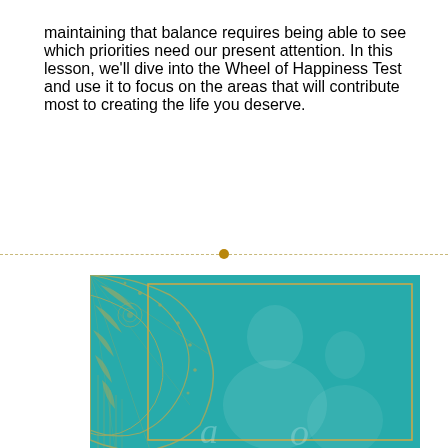maintaining that balance requires being able to see which priorities need our present attention. In this lesson, we'll dive into the Wheel of Happiness Test and use it to focus on the areas that will contribute most to creating the life you deserve.
[Figure (illustration): A teal/turquoise decorative image with a gold mandala pattern in the upper left corner, a gold border rectangle inset, and a silhouette of a person in the background, partially overlaid with a teal wash.]